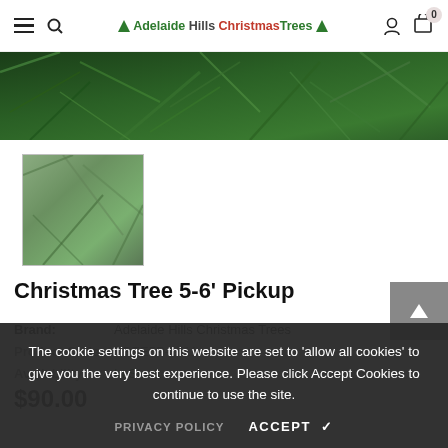Adelaide Hills Christmas Trees — navigation bar with hamburger menu, search, logo, user icon, cart (0)
[Figure (photo): Close-up photo of green pine/Christmas tree branches, hero banner image]
[Figure (photo): Thumbnail image of green Christmas tree branches]
Christmas Tree 5-6' Pickup
Brand: Adelaide Hills Christmas Trees
Product Code: TREE5P-2511
Availability: In Stock
$90.00
The cookie settings on this website are set to 'allow all cookies' to give you the very best experience. Please click Accept Cookies to continue to use the site.
PRIVACY POLICY   ACCEPT ✔
Fresh, Bushy Christmas Trees 5-6 ft. PRE-ORDER AND PICKUP